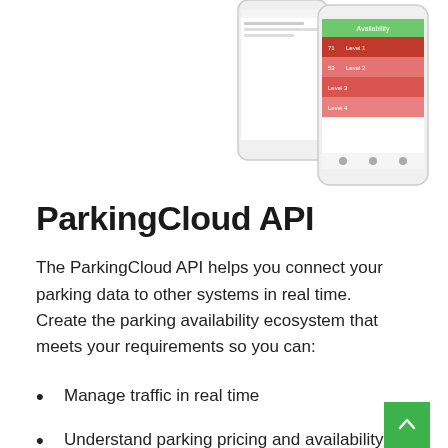[Figure (screenshot): Two smartphone screens showing a parking availability app with red and green colored availability grids]
ParkingCloud API
The ParkingCloud API helps you connect your parking data to other systems in real time.  Create the parking availability ecosystem that meets your requirements so you can:
Manage traffic in real time
Understand parking pricing and availability in